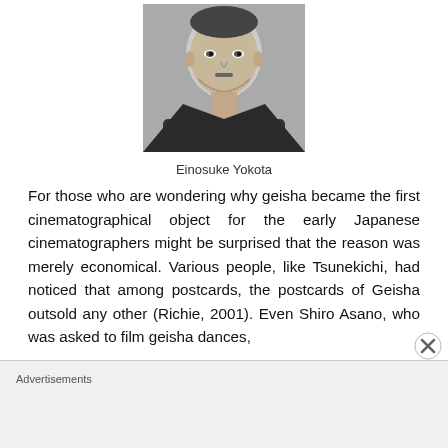[Figure (photo): Black and white portrait photograph of Einosuke Yokota, a Japanese man in formal attire.]
Einosuke Yokota
For those who are wondering why geisha became the first cinematographical object for the early Japanese cinematographers might be surprised that the reason was merely economical. Various people, like Tsunekichi, had noticed that among postcards, the postcards of Geisha outsold any other (Richie, 2001). Even Shiro Asano, who was asked to film geisha dances,
Advertisements